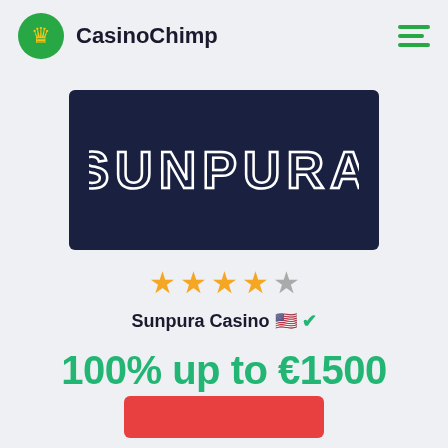CasinoChimp
[Figure (logo): Sunpura casino logo — white stylized text 'SUNPURA' on dark navy background]
★★★★☆ (4 out of 5 stars)
Sunpura Casino 🇺🇸✅
100% up to €1500